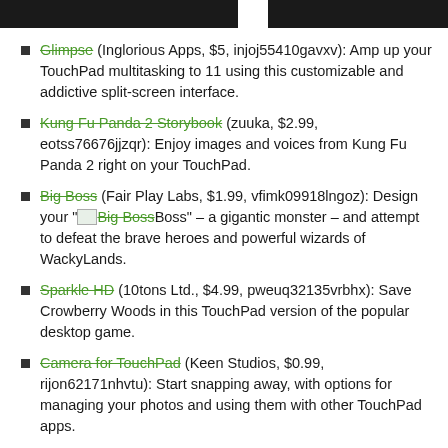Glimpse (Inglorious Apps, $5, injoj55410gavxv): Amp up your TouchPad multitasking to 11 using this customizable and addictive split-screen interface.
Kung Fu Panda 2 Storybook (zuuka, $2.99, eotss76676jjzqr): Enjoy images and voices from Kung Fu Panda 2 right on your TouchPad.
Big Boss (Fair Play Labs, $1.99, vfimk09918lngoz): Design your "Big Boss" – a gigantic monster – and attempt to defeat the brave heroes and powerful wizards of WackyLands.
Sparkle HD (10tons Ltd., $4.99, pweuq32135vrbhx): Save Crowberry Woods in this TouchPad version of the popular desktop game.
Camera for TouchPad (Keen Studios, $0.99, rijon62171nhvtu): Start snapping away, with options for managing your photos and using them with other TouchPad apps.